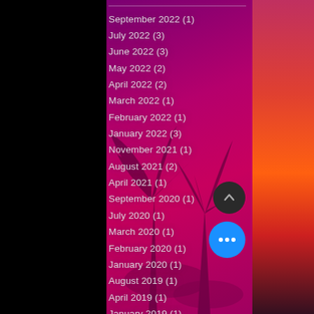September 2022 (1)
July 2022 (3)
June 2022 (3)
May 2022 (2)
April 2022 (2)
March 2022 (1)
February 2022 (1)
January 2022 (3)
November 2021 (1)
August 2021 (2)
April 2021 (1)
September 2020 (1)
July 2020 (1)
March 2020 (1)
February 2020 (1)
January 2020 (1)
August 2019 (1)
April 2019 (1)
January 2019 (1)
August 2018 (1)